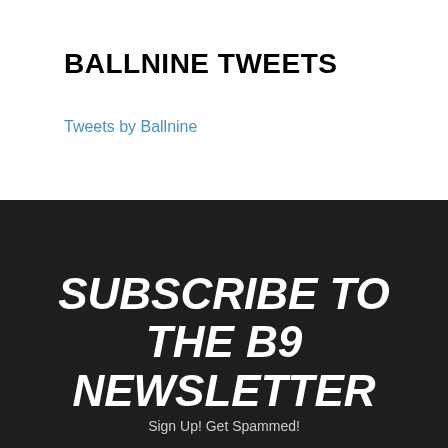BALLNINE TWEETS
Tweets by Ballnine
SUBSCRIBE TO THE B9 NEWSLETTER
Sign Up! Get Spammed!